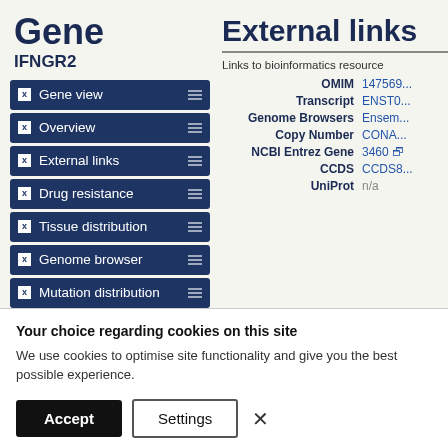Gene
IFNGR2
Gene view
Overview
External links
Drug resistance
Tissue distribution
Genome browser
Mutation distribution
Variants
References
External links
Links to bioinformatics resource
| Label | Value |
| --- | --- |
| OMIM | 147569... |
| Transcript | ENST0... |
| Genome Browsers | Ensem... |
| Copy Number | CONA... |
| NCBI Entrez Gene | 3460 |
| CCDS | CCDS8... |
| UniProt | n/a |
Your choice regarding cookies on this site
We use cookies to optimise site functionality and give you the best possible experience.